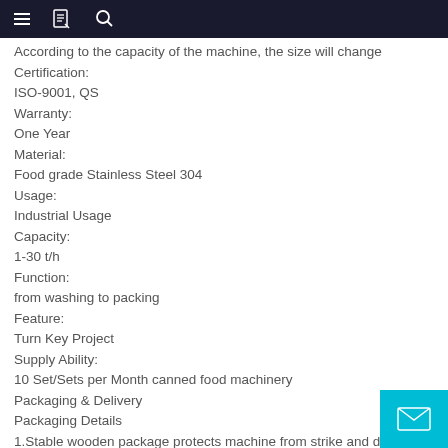Navigation bar with menu, document, and search icons
According to the capacity of the machine, the size will change
Certification:
ISO-9001, QS
Warranty:
One Year
Material:
Food grade Stainless Steel 304
Usage:
Industrial Usage
Capacity:
1-30 t/h
Function:
from washing to packing
Feature:
Turn Key Project
Supply Ability:
10 Set/Sets per Month canned food machinery
Packaging & Delivery
Packaging Details
1.Stable wooden package protects machine from strike and da
2.Wound plastic film keeps machine out of damp and